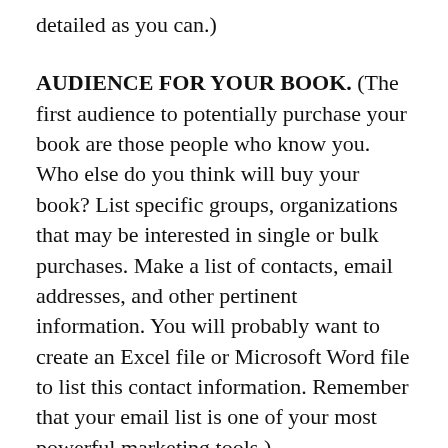detailed as you can.)
AUDIENCE FOR YOUR BOOK. (The first audience to potentially purchase your book are those people who know you. Who else do you think will buy your book? List specific groups, organizations that may be interested in single or bulk purchases. Make a list of contacts, email addresses, and other pertinent information. You will probably want to create an Excel file or Microsoft Word file to list this contact information. Remember that your email list is one of your most powerful marketing tools.)
POTENTIAL ENDORSERS/REVIEWERS. (Consider who might write an endorsement for your book. Endorsements, sometimes called ‘blurbs,’ are printed on the book cover or on the inside front page of a